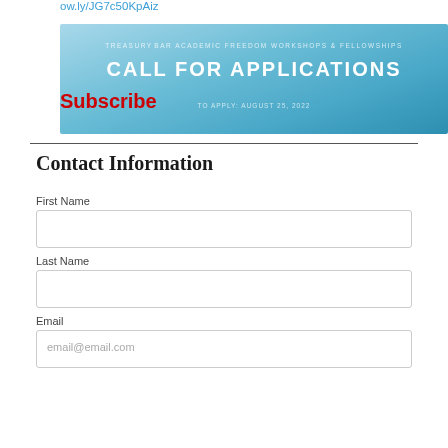ow.ly/JG7c50KpAiz
[Figure (illustration): Blue banner image with text 'CALL FOR APPLICATIONS' and a subtitle about academic freedom workshops and fellowships. A red 'Subscribe' label overlays the bottom-left of the banner.]
Contact Information
First Name
Last Name
Email